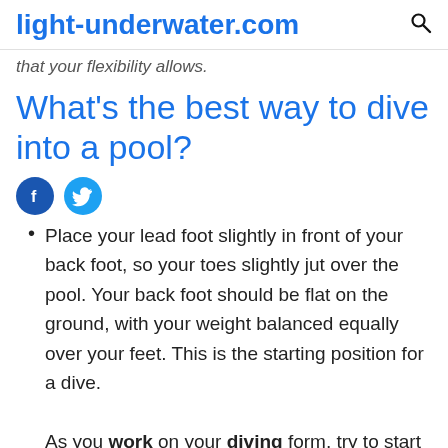light-underwater.com
that your flexibility allows.
What's the best way to dive into a pool?
[Figure (other): Social media share icons: Facebook (blue circle with f) and Twitter (cyan circle with bird)]
Place your lead foot slightly in front of your back foot, so your toes slightly jut over the pool. Your back foot should be flat on the ground, with your weight balanced equally over your feet. This is the starting position for a dive. As you work on your diving form, try to start